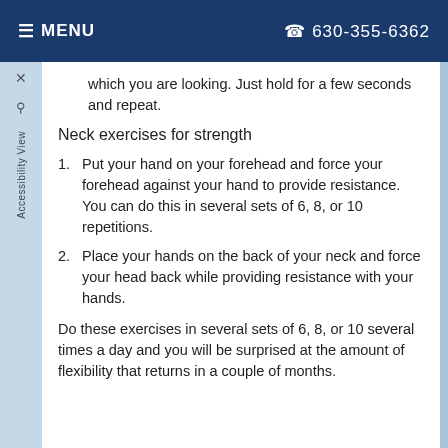≡ MENU  ☎ 630-355-6362
which you are looking. Just hold for a few seconds and repeat.
Neck exercises for strength
1. Put your hand on your forehead and force your forehead against your hand to provide resistance. You can do this in several sets of 6, 8, or 10 repetitions.
2. Place your hands on the back of your neck and force your head back while providing resistance with your hands.
Do these exercises in several sets of 6, 8, or 10 several times a day and you will be surprised at the amount of flexibility that returns in a couple of months.